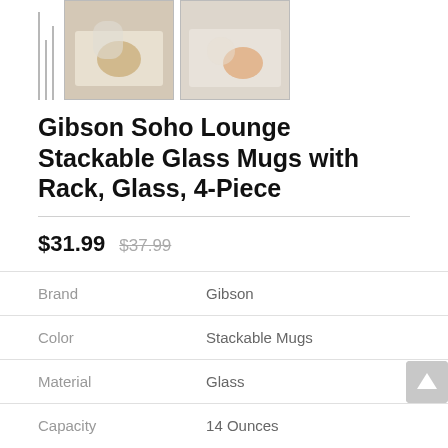[Figure (photo): Product thumbnail images: three vertical bar placeholders on left, two square product photos showing Gibson Soho Lounge Stackable Glass Mugs]
Gibson Soho Lounge Stackable Glass Mugs with Rack, Glass, 4-Piece
$31.99  $37.99
| Attribute | Value |
| --- | --- |
| Brand | Gibson |
| Color | Stackable Mugs |
| Material | Glass |
| Capacity | 14 Ounces |